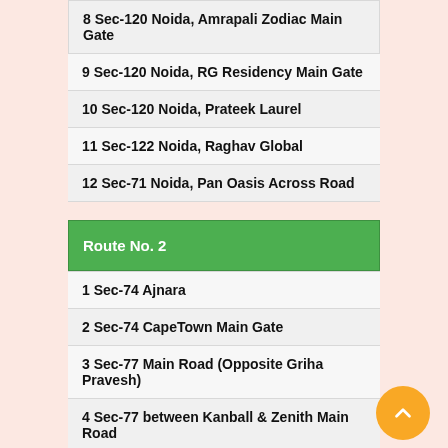8 Sec-120 Noida, Amrapali Zodiac Main Gate
9 Sec-120 Noida, RG Residency Main Gate
10 Sec-120 Noida, Prateek Laurel
11 Sec-122 Noida, Raghav Global
12 Sec-71 Noida, Pan Oasis Across Road
Route No. 2
1 Sec-74 Ajnara
2 Sec-74 CapeTown Main Gate
3 Sec-77 Main Road (Opposite Griha Pravesh)
4 Sec-77 between Kanball & Zenith Main Road
5 Sec-77 Griha Pravesh